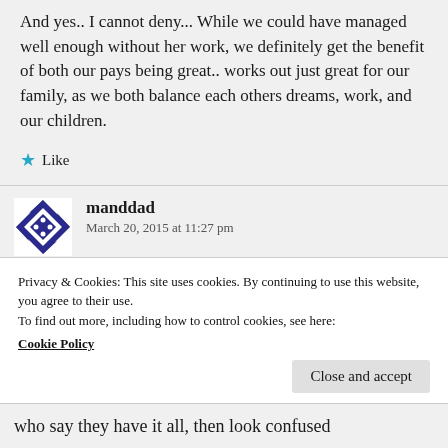And yes.. I cannot deny... While we could have managed well enough without her work, we definitely get the benefit of both our pays being great.. works out just great for our family, as we both balance each others dreams, work, and our children.
★ Like
manddad
March 20, 2015 at 11:27 pm
Privacy & Cookies: This site uses cookies. By continuing to use this website, you agree to their use.
To find out more, including how to control cookies, see here:
Cookie Policy
Close and accept
who say they have it all, then look confused